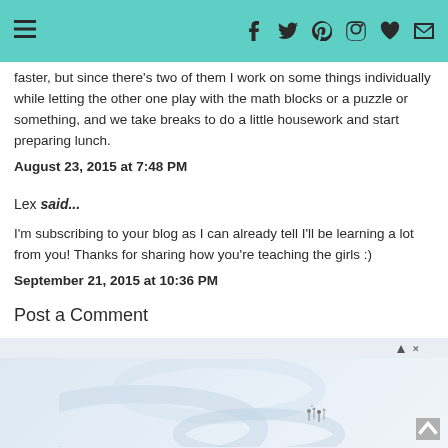navigation and social icons header bar
faster, but since there's two of them I work on some things individually while letting the other one play with the math blocks or a puzzle or something, and we take breaks to do a little housework and start preparing lunch.
August 23, 2015 at 7:48 PM
Lex said...
I'm subscribing to your blog as I can already tell I'll be learning a lot from you! Thanks for sharing how you're teaching the girls :)
September 21, 2015 at 10:36 PM
Post a Comment
[Figure (photo): Advertisement banner with light blue swirl/ribbon pattern and small figures in the lower right]